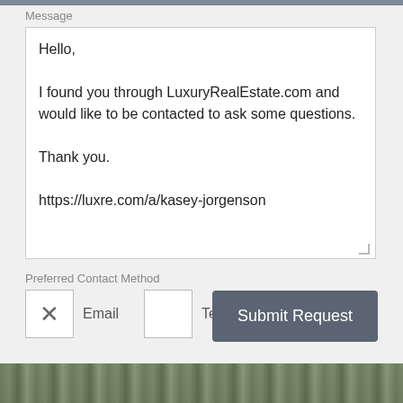Message
Hello,

I found you through LuxuryRealEstate.com and would like to be contacted to ask some questions.

Thank you.

https://luxre.com/a/kasey-jorgenson
Preferred Contact Method
Email
Text/SMS
Submit Request
[Figure (photo): Landscape photo at the bottom of the page showing trees or vegetation]